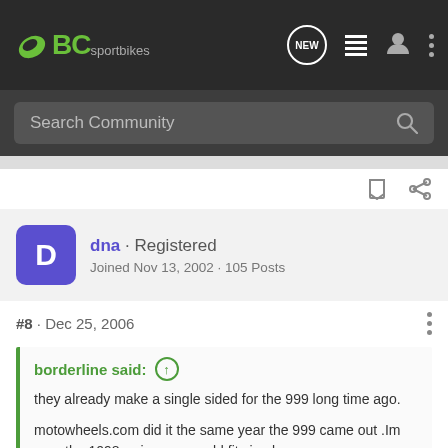[Figure (screenshot): BCsportbikes community forum website header with logo, NEW button, list icon, user icon, and more options icon on dark background]
Search Community
dna · Registered
Joined Nov 13, 2002 · 105 Posts
#8 · Dec 25, 2006
borderline said:
they already make a single sided for the 999 long time ago.

motowheels.com did it the same year the 999 came out .Im sure the 1098 swingarm would fit simple easy
[Figure (photo): Suzuki GSX-S1000GT advertisement banner showing motorcycle and GT branding]